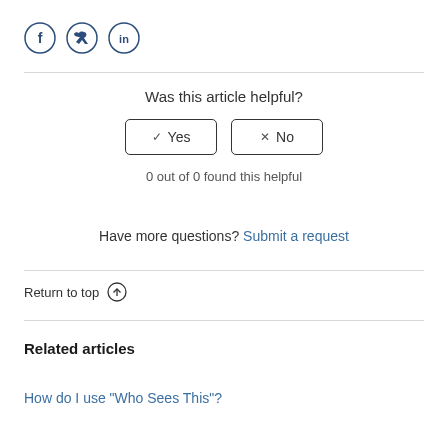[Figure (other): Social media share icons: Facebook (f), Twitter (bird), LinkedIn (in)]
Was this article helpful?
✓ Yes | × No (buttons)
0 out of 0 found this helpful
Have more questions? Submit a request
Return to top ↑
Related articles
How do I use "Who Sees This"?